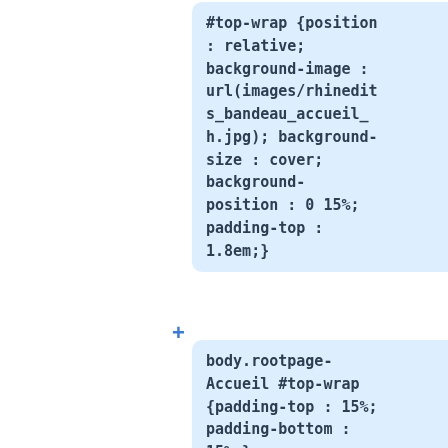#top-wrap {position : relative; background-image : url(images/rhinedits_bandeau_accueil_h.jpg); background-size : cover; background-position : 0 15%; padding-top : 1.8em;}
body.rootpage-Accueil #top-wrap {padding-top : 15%; padding-bottom : 15%;}